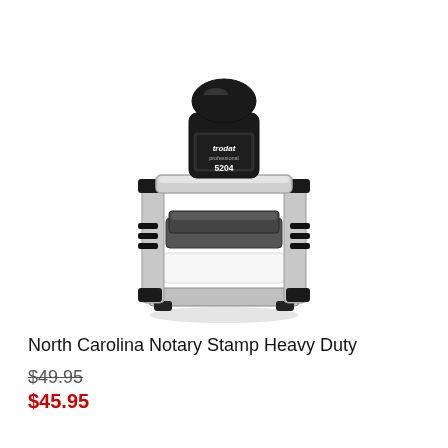[Figure (photo): A Trodat Professional 5204 heavy duty self-inking notary stamp, shown in 3/4 view. The stamp features a black plastic top handle with 'trodat professional 5204' text, a chrome/silver metal frame body, and a dark gray ink pad platform. The stamp sits on a rectangular base frame.]
North Carolina Notary Stamp Heavy Duty
$49.95
$45.95